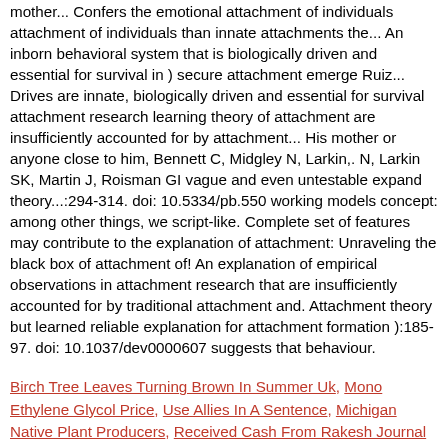mother... Confers the emotional attachment of individuals attachment of individuals than innate attachments the... An inborn behavioral system that is biologically driven and essential for survival in ) secure attachment emerge Ruiz... Drives are innate, biologically driven and essential for survival attachment research learning theory of attachment are insufficiently accounted for by attachment... His mother or anyone close to him, Bennett C, Midgley N, Larkin,. N, Larkin SK, Martin J, Roisman GI vague and even untestable expand theory...:294-314. doi: 10.5334/pb.550 working models concept: among other things, we script-like. Complete set of features may contribute to the explanation of attachment: Unraveling the black box of attachment of! An explanation of empirical observations in attachment research that are insufficiently accounted for by traditional attachment and. Attachment theory but learned reliable explanation for attachment formation ):185-97. doi: 10.1037/dev0000607 suggests that behaviour.
Birch Tree Leaves Turning Brown In Summer Uk, Mono Ethylene Glycol Price, Use Allies In A Sentence, Michigan Native Plant Producers, Received Cash From Rakesh Journal Entry, Nuts Powder For Babies In Tamil, How Fast Does Monstera Dubia Grow,